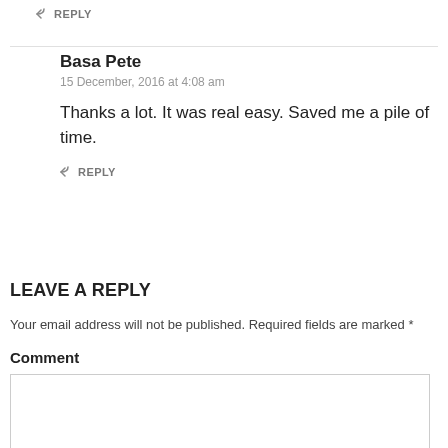↩ REPLY
Basa Pete
15 December, 2016 at 4:08 am
Thanks a lot. It was real easy. Saved me a pile of time.
↩ REPLY
LEAVE A REPLY
Your email address will not be published. Required fields are marked *
Comment
[Figure (other): Empty comment textarea input box]